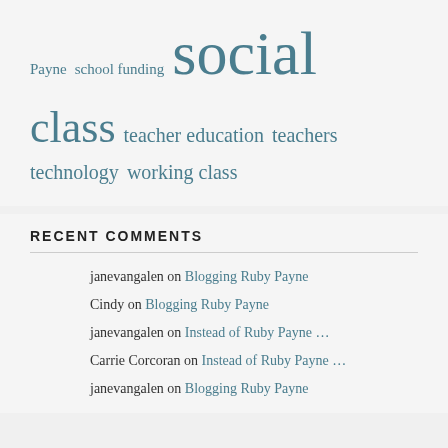Payne  school funding  social class  teacher education  teachers  technology  working class
RECENT COMMENTS
janevangalen on Blogging Ruby Payne
Cindy on Blogging Ruby Payne
janevangalen on Instead of Ruby Payne …
Carrie Corcoran on Instead of Ruby Payne …
janevangalen on Blogging Ruby Payne